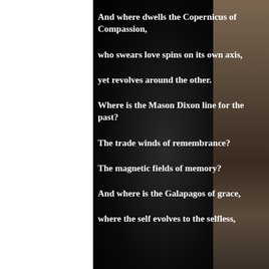And where dwells the Copernicus of Compassion,

who swears love spins on its own axis,

yet revolves around the other.

Where is the Mason Dixon line for the past?

The trade winds of remembrance?

The magnetic fields of memory?

And where is the Galapagos of grace,

where the self evolves to the selfless,